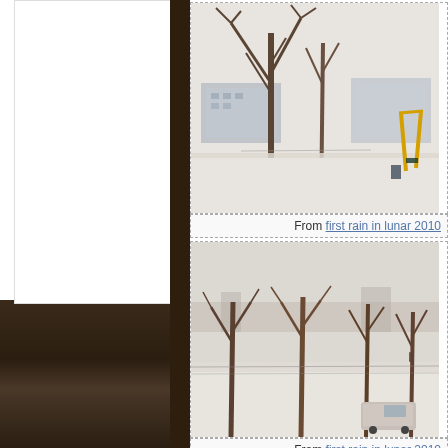[Figure (photo): Winter snow scene with bare trees and a yellow playground swing set, buildings in background, ground covered in snow. Dashed border surrounding photo.]
From first rain in lunar 2010
[Figure (photo): Winter snow scene taken from elevated viewpoint showing bare trees, snow-covered open area, a van/vehicle parked below, and distant city buildings. Dashed border surrounding photo.]
From first rain in lunar 2010
below is my web comments on last day in Mar, 2010.